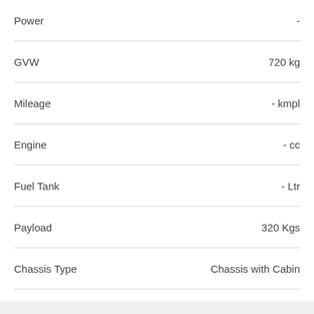| Specification | Value |
| --- | --- |
| Power | - |
| GVW | 720 kg |
| Mileage | - kmpl |
| Engine | - cc |
| Fuel Tank | - Ltr |
| Payload | 320 Kgs |
| Chassis Type | Chassis with Cabin |